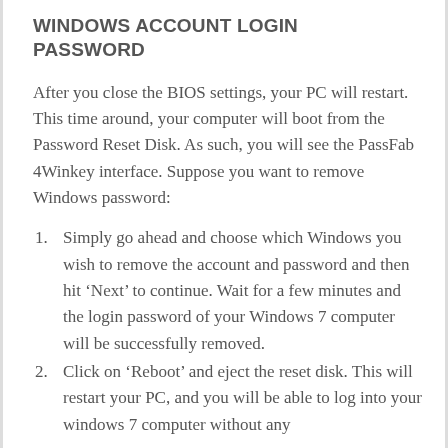WINDOWS ACCOUNT LOGIN PASSWORD
After you close the BIOS settings, your PC will restart. This time around, your computer will boot from the Password Reset Disk. As such, you will see the PassFab 4Winkey interface. Suppose you want to remove Windows password:
Simply go ahead and choose which Windows you wish to remove the account and password and then hit ‘Next’ to continue. Wait for a few minutes and the login password of your Windows 7 computer will be successfully removed.
Click on ‘Reboot’ and eject the reset disk. This will restart your PC, and you will be able to log into your windows 7 computer without any